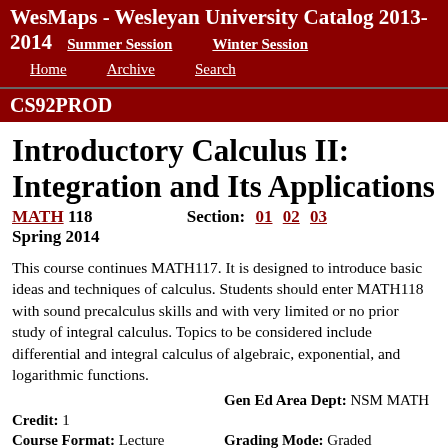WesMaps - Wesleyan University Catalog 2013-2014  Summer Session  Winter Session  Home  Archive  Search
CS92PROD
Introductory Calculus II: Integration and Its Applications
MATH 118  Section: 01  02  03  Spring 2014
This course continues MATH117. It is designed to introduce basic ideas and techniques of calculus. Students should enter MATH118 with sound precalculus skills and with very limited or no prior study of integral calculus. Topics to be considered include differential and integral calculus of algebraic, exponential, and logarithmic functions.
Credit: 1  Course Format: Lecture  Gen Ed Area Dept: NSM MATH  Grading Mode: Graded